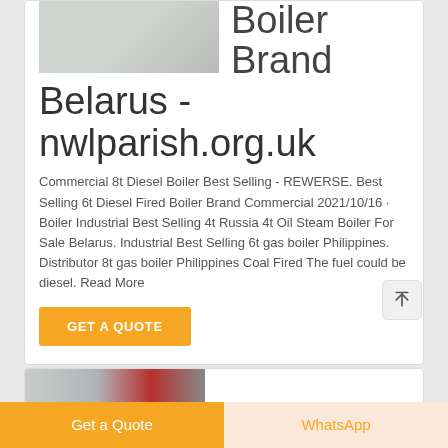[Figure (photo): Photo of industrial or commercial interior space, partially visible at top of card]
Boiler Brand Belarus - nwlparish.org.uk
Commercial 8t Diesel Boiler Best Selling - REWERSE. Best Selling 6t Diesel Fired Boiler Brand Commercial 2021/10/16 · Boiler Industrial Best Selling 4t Russia 4t Oil Steam Boiler For Sale Belarus. Industrial Best Selling 6t gas boiler Philippines. Distributor 8t gas boiler Philippines Coal Fired The fuel could be diesel. Read More
GET A QUOTE
[Figure (photo): Photo of industrial boiler or heating equipment, partially visible at bottom of page]
Get a Quote
WhatsApp